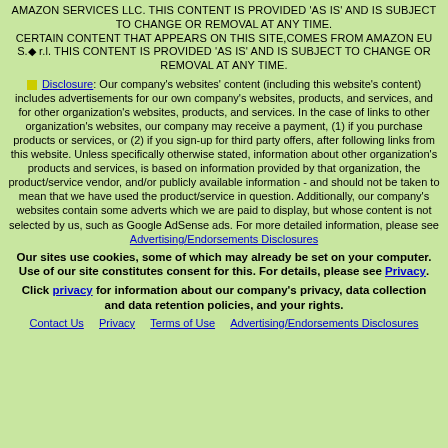AMAZON SERVICES LLC. THIS CONTENT IS PROVIDED 'AS IS' AND IS SUBJECT TO CHANGE OR REMOVAL AT ANY TIME. CERTAIN CONTENT THAT APPEARS ON THIS SITE,COMES FROM AMAZON EU S.◆ r.l. THIS CONTENT IS PROVIDED 'AS IS' AND IS SUBJECT TO CHANGE OR REMOVAL AT ANY TIME.
Disclosure: Our company's websites' content (including this website's content) includes advertisements for our own company's websites, products, and services, and for other organization's websites, products, and services. In the case of links to other organization's websites, our company may receive a payment, (1) if you purchase products or services, or (2) if you sign-up for third party offers, after following links from this website. Unless specifically otherwise stated, information about other organization's products and services, is based on information provided by that organization, the product/service vendor, and/or publicly available information - and should not be taken to mean that we have used the product/service in question. Additionally, our company's websites contain some adverts which we are paid to display, but whose content is not selected by us, such as Google AdSense ads. For more detailed information, please see Advertising/Endorsements Disclosures
Our sites use cookies, some of which may already be set on your computer. Use of our site constitutes consent for this. For details, please see Privacy.
Click privacy for information about our company's privacy, data collection and data retention policies, and your rights.
Contact Us   Privacy   Terms of Use   Advertising/Endorsements Disclosures